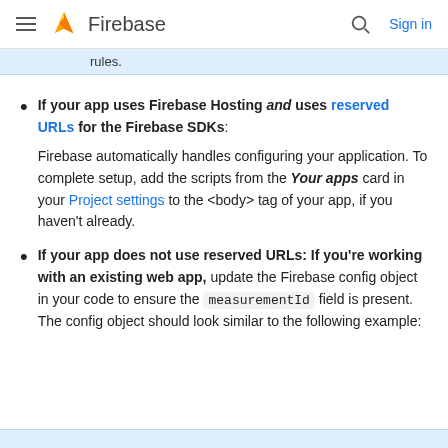Firebase — Sign in
rules.
If your app uses Firebase Hosting and uses reserved URLs for the Firebase SDKs: Firebase automatically handles configuring your application. To complete setup, add the scripts from the Your apps card in your Project settings to the <body> tag of your app, if you haven't already.
If your app does not use reserved URLs: If you're working with an existing web app, update the Firebase config object in your code to ensure the measurementId field is present. The config object should look similar to the following example: